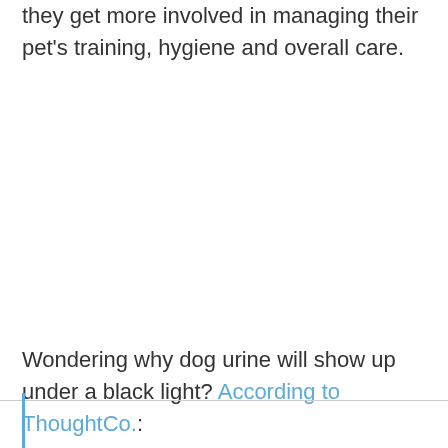they get more involved in managing their pet's training, hygiene and overall care.
Wondering why dog urine will show up under a black light? According to ThoughtCo.: